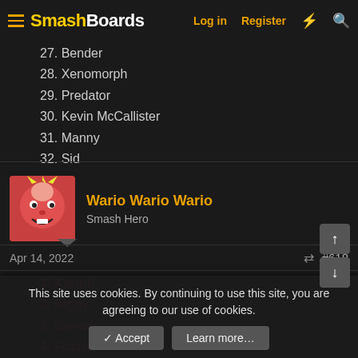SmashBoards — Log in | Register
26. Peter Griffin
27. Bender
28. Xenomorph
29. Predator
30. Kevin McCallister
31. Manny
32. Sid
Wario Wario Wario — Smash Hero
Apr 14, 2022  #618
1. Kermit
2. Piggy
3. Gonzo
4. Fozzie
5. Homer
This site uses cookies. By continuing to use this site, you are agreeing to our use of cookies.